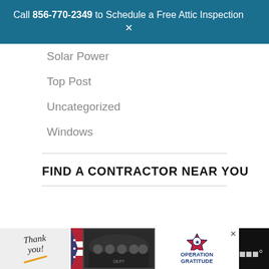Call 856-770-2349 to Schedule a Free Attic Inspection
Solar Power
Top Post
Uncategorized
Windows
FIND A CONTRACTOR NEAR YOU
[Figure (screenshot): Tackle your to-do list ad banner with dark navy background]
[Figure (screenshot): Bottom ad bar: Thank you note with Operation Gratitude branding and firefighter photo]